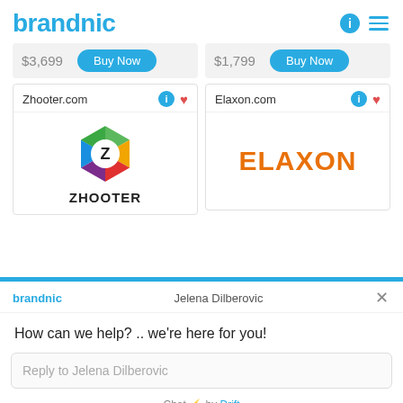brandnic
$3,699  Buy Now
$1,799  Buy Now
[Figure (logo): Zhooter.com product card with hexagonal colorful Z logo and ZHOOTER wordmark]
[Figure (logo): Elaxon.com product card with ELAXON wordmark in orange]
Jelena Dilberovic
How can we help? .. we're here for you!
Reply to Jelena Dilberovic
Chat ⚡ by Drift